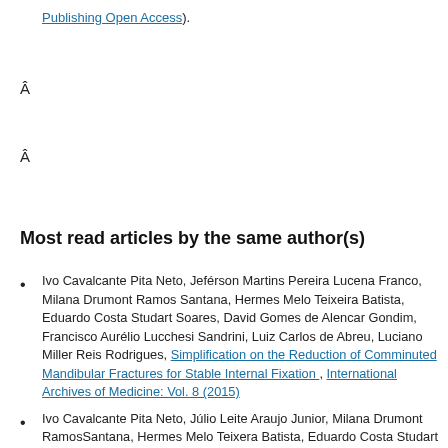Publishing Open Access).
Â
Â
Most read articles by the same author(s)
Ivo Cavalcante Pita Neto, Jeférson Martins Pereira Lucena Franco, Milana Drumont Ramos Santana, Hermes Melo Teixeira Batista, Eduardo Costa Studart Soares, David Gomes de Alencar Gondim, Francisco Aurélio Lucchesi Sandrini, Luiz Carlos de Abreu, Luciano Miller Reis Rodrigues, Simplification on the Reduction of Comminuted Mandibular Fractures for Stable Internal Fixation , International Archives of Medicine: Vol. 8 (2015)
Ivo Cavalcante Pita Neto, Júlio Leite Araujo Junior, Milana Drumont RamosSantana, Hermes Melo Teixera Batista, Eduardo Costa Studart Soares, Luiz Carlos De Abreu, Luciano Miller Reis Rodrigues, Woneska Rodrigues